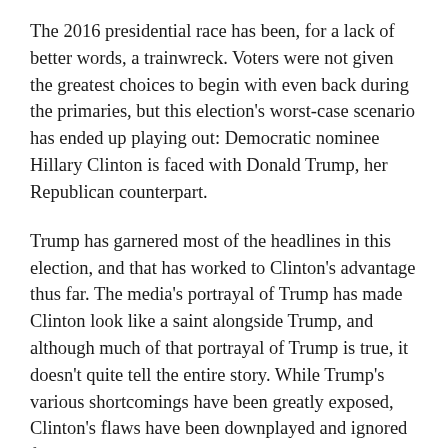The 2016 presidential race has been, for a lack of better words, a trainwreck. Voters were not given the greatest choices to begin with even back during the primaries, but this election's worst-case scenario has ended up playing out: Democratic nominee Hillary Clinton is faced with Donald Trump, her Republican counterpart.
Trump has garnered most of the headlines in this election, and that has worked to Clinton's advantage thus far. The media's portrayal of Trump has made Clinton look like a saint alongside Trump, and although much of that portrayal of Trump is true, it doesn't quite tell the entire story. While Trump's various shortcomings have been greatly exposed, Clinton's flaws have been downplayed and ignored for the most part. Clinton may look innocent next to some of the radical views of her opponent, but her dark history cannot go unnoticed. Citizens need to understand whom they are really voting for before blindly